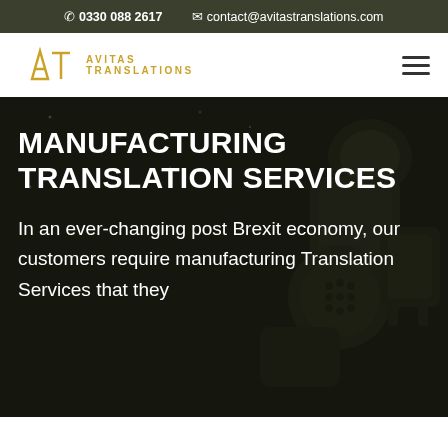0330 088 2617   contact@avitastranslations.com
[Figure (logo): Avitas Translations logo with stylized AT monogram in gold/yellow and text AVITAS TRANSLATIONS]
MANUFACTURING TRANSLATION SERVICES
In an ever-changing post Brexit economy, our customers require manufacturing Translation Services that they